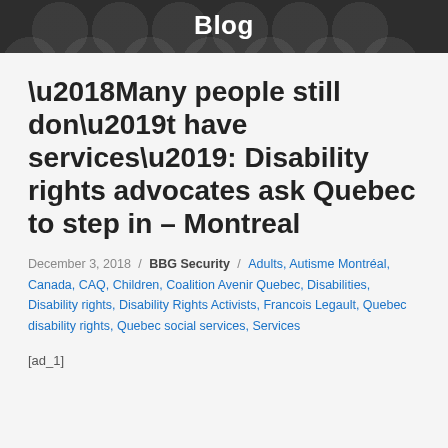Blog
‘Many people still don’t have services’: Disability rights advocates ask Quebec to step in – Montreal
December 3, 2018 / BBG Security / Adults, Autisme Montréal, Canada, CAQ, Children, Coalition Avenir Quebec, Disabilities, Disability rights, Disability Rights Activists, Francois Legault, Quebec disability rights, Quebec social services, Services
[ad_1]